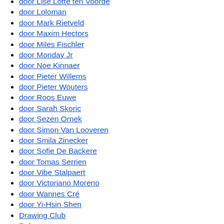door Lise Lotte ten Voorde
door Loloman
door Mark Rietveld
door Maxim Hectors
door Miles Fischler
door Monday Jr
door Noe Kinnaer
door Pieter Willems
door Pieter Wouters
door Roos Euwe
door Sarah Skoric
door Sezen Ornek
door Simon Van Looveren
door Smila Zinecker
door Sofie De Backere
door Tomas Serrien
door Vibe Stalpaert
door Victoriano Moreno
door Wannes Cré
door Yi-Hsin Shen
Drawing Club
Dub
earth.rope.pot.plant
Expo
Extra Academy
Festival...